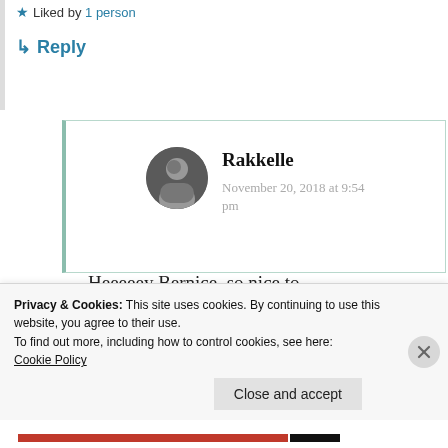★ Liked by 1 person
↳ Reply
Rakkelle
November 20, 2018 at 9:54 pm
Heeeeey Bernice, so nice to meet you
Privacy & Cookies: This site uses cookies. By continuing to use this website, you agree to their use.
To find out more, including how to control cookies, see here:
Cookie Policy
Close and accept